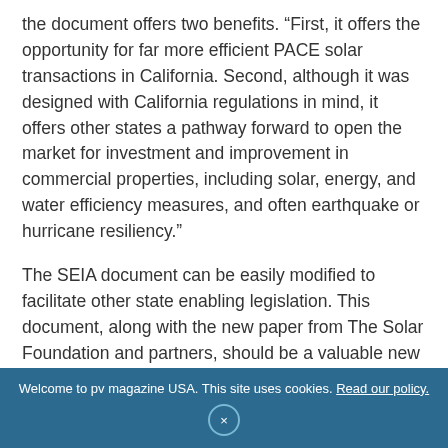the document offers two benefits. “First, it offers the opportunity for far more efficient PACE solar transactions in California. Second, although it was designed with California regulations in mind, it offers other states a pathway forward to open the market for investment and improvement in commercial properties, including solar, energy, and water efficiency measures, and often earthquake or hurricane resiliency.”
The SEIA document can be easily modified to facilitate other state enabling legislation. This document, along with the new paper from The Solar Foundation and partners, should be a valuable new resource for local governments, solar companies, and nonprofit organizations seeking to go solar. By combining the
Welcome to pv magazine USA. This site uses cookies. Read our policy. ×